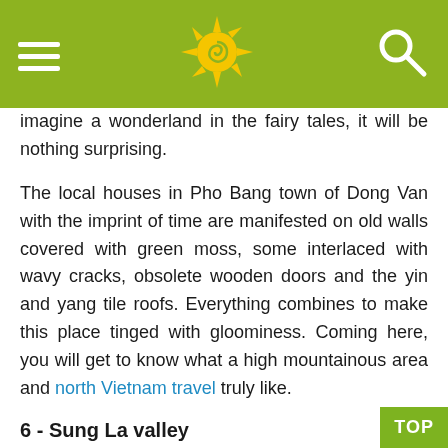[Figure (other): Website header bar with olive/yellow-green background containing a hamburger menu icon on the left, a sun/spiral logo in the center, and a search (magnifying glass) icon on the right]
imagine a wonderland in the fairy tales, it will be nothing surprising.
The local houses in Pho Bang town of Dong Van with the imprint of time are manifested on old walls covered with green moss, some interlaced with wavy cracks, obsolete wooden doors and the yin and yang tile roofs. Everything combines to make this place tinged with gloominess. Coming here, you will get to know what a high mountainous area and north Vietnam travel truly like.
6 - Sung La valley
Sung La valley is situated on the National Highway 4C, about 127 km from Ha Giang city. Sung La in the ethnic language means “oasis”. This is one of the mos